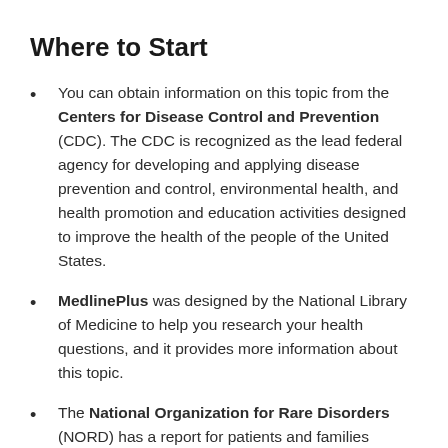Where to Start
You can obtain information on this topic from the Centers for Disease Control and Prevention (CDC). The CDC is recognized as the lead federal agency for developing and applying disease prevention and control, environmental health, and health promotion and education activities designed to improve the health of the people of the United States.
MedlinePlus was designed by the National Library of Medicine to help you research your health questions, and it provides more information about this topic.
The National Organization for Rare Disorders (NORD) has a report for patients and families